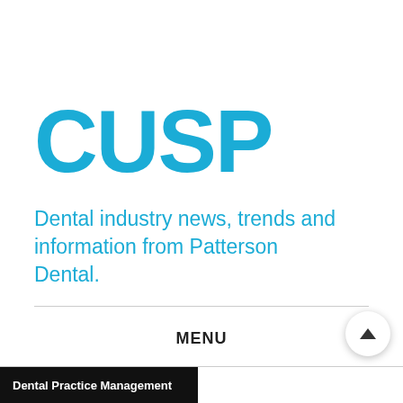[Figure (logo): CUSP logo — bold cyan/blue text 'CUSP' with tagline 'Dental industry news, trends and information from Patterson Dental.' in cyan]
MENU
[Figure (other): Search magnifying glass icon]
[Figure (other): Scroll-up arrow button (circular white button with dark upward triangle)]
Dental Practice Management